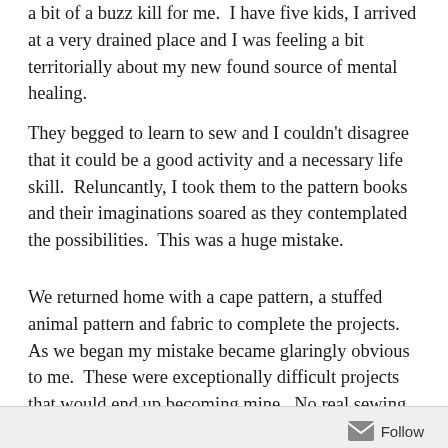a bit of a buzz kill for me.  I have five kids, I arrived at a very drained place and I was feeling a bit territorially about my new found source of mental healing.
They begged to learn to sew and I couldn't disagree that it could be a good activity and a necessary life skill.  Reluncantly, I took them to the pattern books and their imaginations soared as they contemplated the possibilities.  This was a huge mistake.
We returned home with a cape pattern, a stuffed animal pattern and fabric to complete the projects.  As we began my mistake became glaringly obvious to me.  These were exceptionally difficult projects that would end up becoming mine.  No real sewing would be learned by them and I now had a sewing project I truly had no
Follow